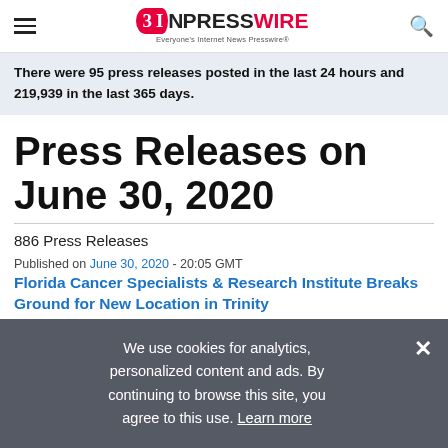EIN PRESSWIRE — Everyone's Internet News Presswire
There were 95 press releases posted in the last 24 hours and 219,939 in the last 365 days.
Press Releases on June 30, 2020
886 Press Releases
Published on June 30, 2020 - 20:05 GMT
Florida Cancer Specialists & Research Institute Breaks Ground for New Location in Trinity
We use cookies for analytics, personalized content and ads. By continuing to browse this site, you agree to this use. Learn more